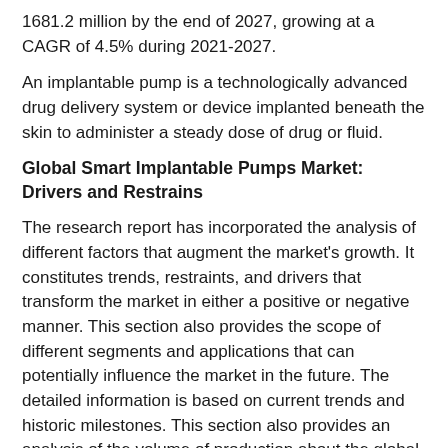1681.2 million by the end of 2027, growing at a CAGR of 4.5% during 2021-2027.
An implantable pump is a technologically advanced drug delivery system or device implanted beneath the skin to administer a steady dose of drug or fluid.
Global Smart Implantable Pumps Market: Drivers and Restrains
The research report has incorporated the analysis of different factors that augment the market's growth. It constitutes trends, restraints, and drivers that transform the market in either a positive or negative manner. This section also provides the scope of different segments and applications that can potentially influence the market in the future. The detailed information is based on current trends and historic milestones. This section also provides an analysis of the volume of production about the global market and about each type from 2016 to 2027. This section mentions the volume of production by region from 2016 to 2027. Pricing analysis is included in the report according to each type from the year 2016 to 2027, and for region from 2016 to 2027.